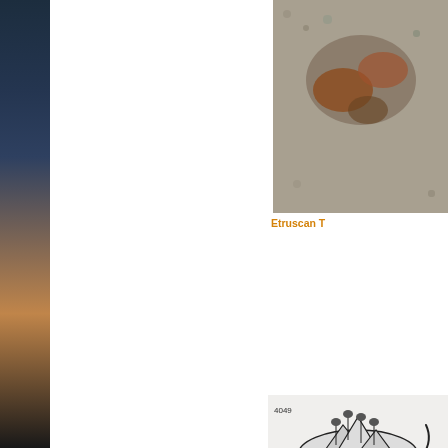[Figure (photo): Close-up photo of an Etruscan artifact or mosaic, showing textured stone or ceramic surface with reddish-brown shapes against a grey granular background.]
Etruscan T
[Figure (illustration): Black and white line illustration of Sri Hanuma of Ramayana, depicted flying and carrying a mountain. The figure is shown mid-flight with a tail, wearing traditional adornments, lifting a mountain with forests on top. Small text '4049' visible in top left corner of illustration.]
Sri Hanuma of Ra down Mt. R